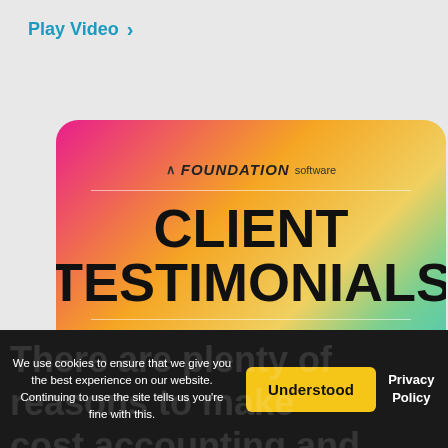Play Video >
[Figure (illustration): Foundation Software Client Testimonials thumbnail card with colorful gradient background (pink, orange, yellow, green, teal). Shows logo 'FOUNDATION software', horizontal divider, large bold text 'CLIENT TESTIMONIALS', another divider, and subtitle 'Adam's Masonry'.]
Client Testimonials
There are plenty of reasons to make ... cost accounting and construction
We use cookies to ensure that we give you the best experience on our website. Continuing to use the site tells us you're fine with this.
Understood
Privacy Policy